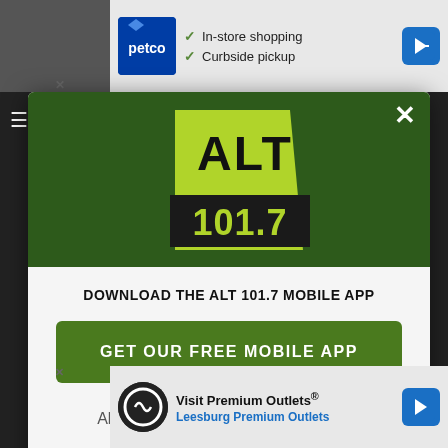[Figure (screenshot): Top advertisement banner for Petco showing 'In-store shopping' and 'Curbside pickup' options with checkmarks, Petco logo, and a blue navigation arrow icon]
[Figure (screenshot): Modal popup with dark green header containing ALT 101.7 radio station logo, white body with text 'DOWNLOAD THE ALT 101.7 MOBILE APP', a green button 'GET OUR FREE MOBILE APP', and Amazon Alexa logo with 'Also listen on:' text]
[Figure (screenshot): Bottom advertisement banner for Premium Outlets showing 'Visit Premium Outlets' and 'Leesburg Premium Outlets' with navigation arrow icon]